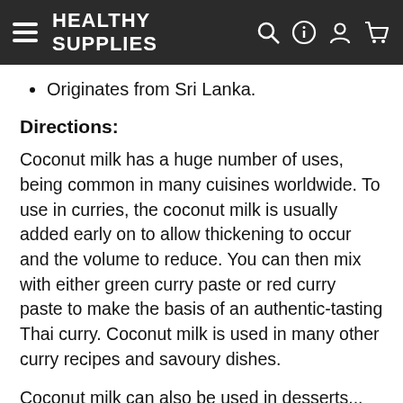HEALTHY SUPPLIES
Originates from Sri Lanka.
Directions:
Coconut milk has a huge number of uses, being common in many cuisines worldwide. To use in curries, the coconut milk is usually added early on to allow thickening to occur and the volume to reduce. You can then mix with either green curry paste or red curry paste to make the basis of an authentic-tasting Thai curry. Coconut milk is used in many other curry recipes and savoury dishes.
Coconut milk can also be used in desserts... for example as an alternative to milk in rice pudding, or to make coconut ice cream. It's also used in many drinks: for example, you can mix coconut milk with pineapple juice and rum to make a pina colada, or simply drink coconut milk by itself, diluting and/or sweetening according to preference.